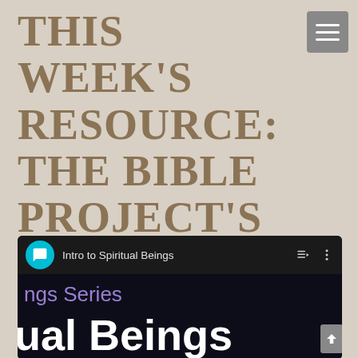THIS WEEK'S RESOURCE: THE BIBLE PROJECT'S SPIRITUAL BEINGS SERIES
[Figure (screenshot): Screenshot of a video player showing 'Intro to Spiritual Beings' from The Bible Project's Spiritual Beings Series, with a teal circular logo, playlist and menu icons, partial purple text 'ngs Series', and large white text 'ual Beings' at the bottom.]